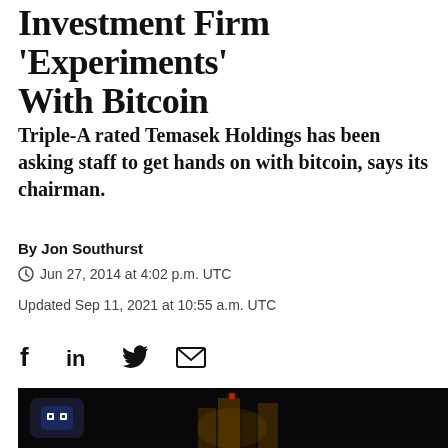Investment Firm 'Experiments' With Bitcoin
Triple-A rated Temasek Holdings has been asking staff to get hands on with bitcoin, says its chairman.
By Jon Southurst
Jun 27, 2014 at 4:02 p.m. UTC
Updated Sep 11, 2021 at 10:55 a.m. UTC
[Figure (illustration): Social media sharing icons: Facebook (f), LinkedIn (in), Twitter bird, envelope/email icon]
[Figure (photo): Dark nighttime photo of illuminated buildings/skyscrapers with a chatbot/smiley face badge in the top left corner]